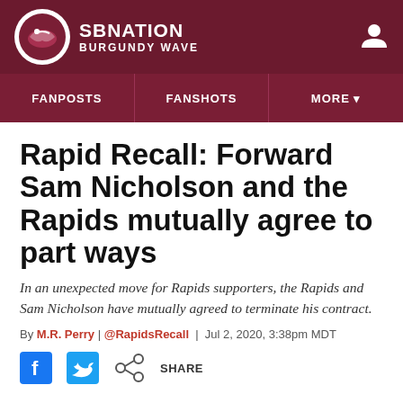SBNation | Burgundy Wave
FANPOSTS | FANSHOTS | MORE
Rapid Recall: Forward Sam Nicholson and the Rapids mutually agree to part ways
In an unexpected move for Rapids supporters, the Rapids and Sam Nicholson have mutually agreed to terminate his contract.
By M.R. Perry | @RapidsRecall | Jul 2, 2020, 3:38pm MDT
SHARE